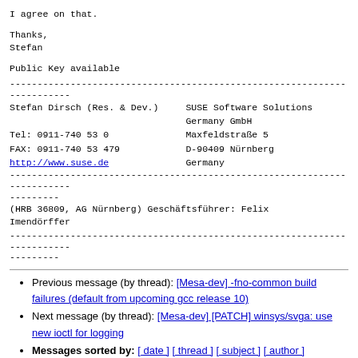I agree on that.
Thanks,
Stefan
Public Key available
Stefan Dirsch (Res. & Dev.)    SUSE Software Solutions Germany GmbH
Tel: 0911-740 53 0             Maxfeldstraße 5
FAX: 0911-740 53 479          D-90409 Nürnberg
http://www.suse.de            Germany
(HRB 36809, AG Nürnberg) Geschäftsführer: Felix Imendörffer
Previous message (by thread): [Mesa-dev] -fno-common build failures (default from upcoming gcc release 10)
Next message (by thread): [Mesa-dev] [PATCH] winsys/svga: use new ioctl for logging
Messages sorted by: [ date ] [ thread ] [ subject ] [ author ]
More information about the mesa-dev mailing list